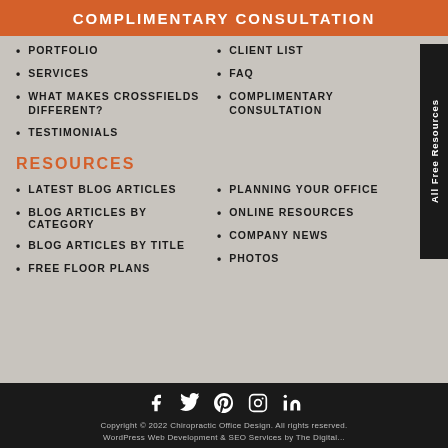COMPLIMENTARY CONSULTATION
PORTFOLIO
CLIENT LIST
SERVICES
FAQ
WHAT MAKES CROSSFIELDS DIFFERENT?
COMPLIMENTARY CONSULTATION
TESTIMONIALS
RESOURCES
LATEST BLOG ARTICLES
PLANNING YOUR OFFICE
BLOG ARTICLES BY CATEGORY
ONLINE RESOURCES
BLOG ARTICLES BY TITLE
COMPANY NEWS
FREE FLOOR PLANS
PHOTOS
Copyright © 2022 Chiropractic Office Design. All rights reserved. WordPress Web Development & SEO Services by The Digital...